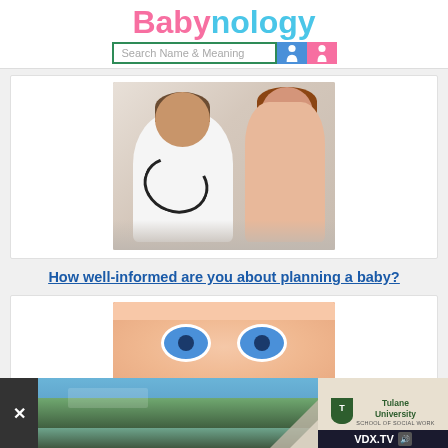Babynology
Search Name & Meaning
[Figure (photo): Doctor in white coat with stethoscope consulting with a patient]
How well-informed are you about planning a baby?
[Figure (photo): Close-up of a baby's face with bright blue eyes]
[Figure (photo): Advertisement banner showing aerial view of campus with Tulane University School of Social Work logo and VDX.TV branding]